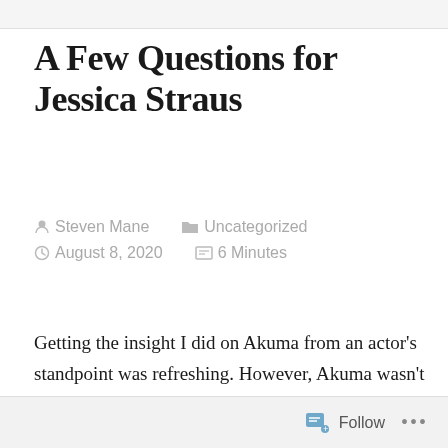A Few Questions for Jessica Straus
Steven Mane  Uncategorized  August 8, 2020  6 Minutes
Getting the insight I did on Akuma from an actor's standpoint was refreshing. However, Akuma wasn't the first character I wanted to know more about. While my readers know I'm a huge fan of G,